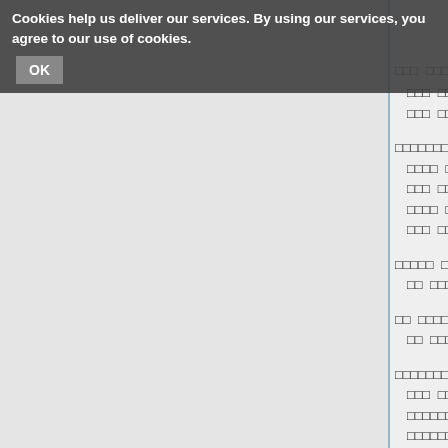Cookies help us deliver our services. By using our services, you agree to our use of cookies. OK
□□□ □□□□ (System Design)
□□□ □□□□ (Kousuke Ikuta)
□□□ □□□ (Kanji Etou)
□□□□□□□ (Assistant)
□□□□ □□□ (Satoru Kimishima)
□□□ □□□□ (Michiaki Konuma)
□□□□ □□ (Tei Kurihara)
□□□ □□□ (Shinji Sakaki)
□□□□□ □□□ (Screen Art)
□□ □□□□□ (Seijuu Hata)
□□ □□□□ (Logo Design)
□□ □□□ (Nawoki Sera)
□□□□□□□ (Designers)
□□□ □□□ (Tanki Sakata)
□□□□□□□ (Shitappaa Tsuji)
□□□□□□□ (Okappaaken)
□□□□□□ (Director)